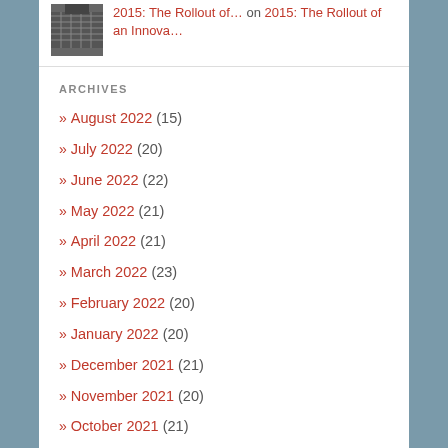[Figure (photo): Small thumbnail image of a building with solar panels or metal cladding]
2015: The Rollout of… on 2015: The Rollout of an Innova…
ARCHIVES
» August 2022 (15)
» July 2022 (20)
» June 2022 (22)
» May 2022 (21)
» April 2022 (21)
» March 2022 (23)
» February 2022 (20)
» January 2022 (20)
» December 2021 (21)
» November 2021 (20)
» October 2021 (21)